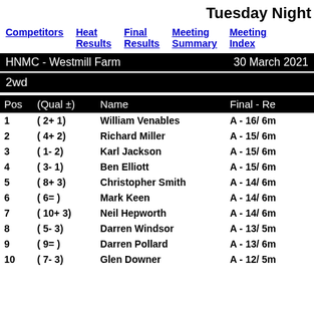Tuesday Night
Competitors | Heat Results | Final Results | Meeting Summary | Meeting Index
HNMC - Westmill Farm    30 March 2021
2wd
| Pos | (Qual ±) | Name | Final - Re |
| --- | --- | --- | --- |
| 1 | ( 2+ 1) | William Venables | A - 16/ 6m |
| 2 | ( 4+ 2) | Richard Miller | A - 15/ 6m |
| 3 | ( 1- 2) | Karl Jackson | A - 15/ 6m |
| 4 | ( 3- 1) | Ben Elliott | A - 15/ 6m |
| 5 | ( 8+ 3) | Christopher Smith | A - 14/ 6m |
| 6 | ( 6= ) | Mark Keen | A - 14/ 6m |
| 7 | ( 10+ 3) | Neil Hepworth | A - 14/ 6m |
| 8 | ( 5- 3) | Darren Windsor | A - 13/ 5m |
| 9 | ( 9= ) | Darren Pollard | A - 13/ 6m |
| 10 | ( 7- 3) | Glen Downer | A - 12/ 5m |